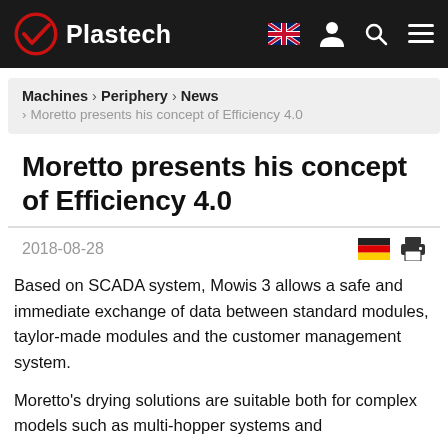Plastech
Machines › Periphery › News › Moretto presents his concept of Efficiency 4.0
Moretto presents his concept of Efficiency 4.0
2018-08-28
Based on SCADA system, Mowis 3 allows a safe and immediate exchange of data between standard modules, taylor-made modules and the customer management system.
Moretto's drying solutions are suitable both for complex models such as multi-hopper systems and